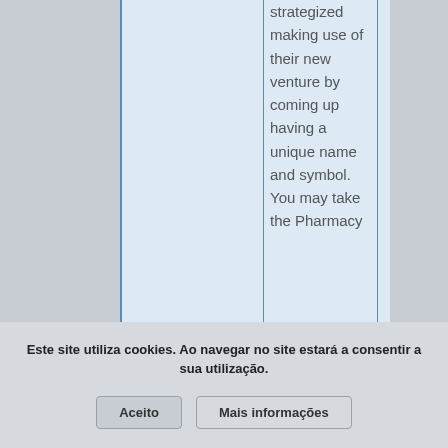strategized making use of their new venture by coming up having a unique name and symbol. You may take the Pharmacy
Este site utiliza cookies. Ao navegar no site estará a consentir a sua utilização.